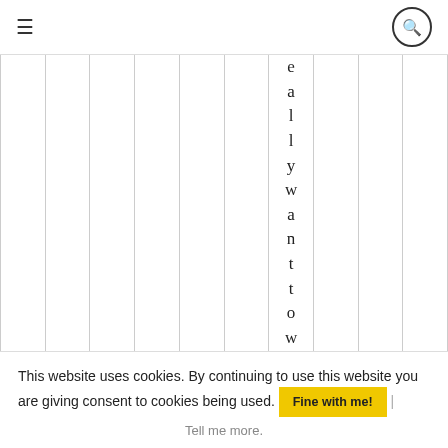≡  🔍
|  |  |  |  |  |  | e a l l y w a n t t o w |  |  |  |
This website uses cookies. By continuing to use this website you are giving consent to cookies being used. Fine with me! | Tell me more.